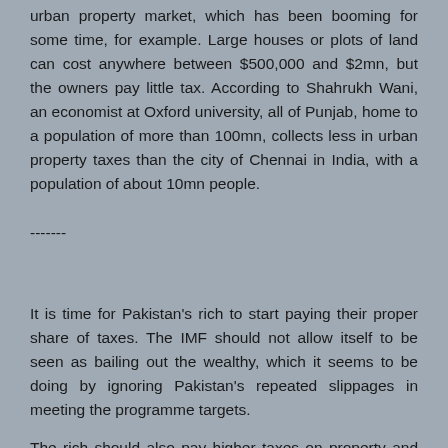urban property market, which has been booming for some time, for example. Large houses or plots of land can cost anywhere between $500,000 and $2mn, but the owners pay little tax. According to Shahrukh Wani, an economist at Oxford university, all of Punjab, home to a population of more than 100mn, collects less in urban property taxes than the city of Chennai in India, with a population of about 10mn people.
-------
It is time for Pakistan's rich to start paying their proper share of taxes. The IMF should not allow itself to be seen as bailing out the wealthy, which it seems to be doing by ignoring Pakistan's repeated slippages in meeting the programme targets.
The rich should also pay higher taxes on property and pay